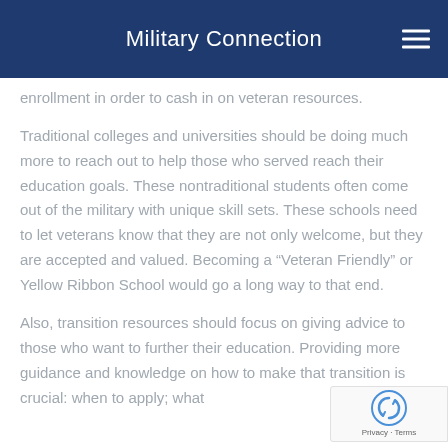Military Connection
enrollment in order to cash in on veteran resources.
Traditional colleges and universities should be doing much more to reach out to help those who served reach their education goals. These nontraditional students often come out of the military with unique skill sets. These schools need to let veterans know that they are not only welcome, but they are accepted and valued. Becoming a "Veteran Friendly" or Yellow Ribbon School would go a long way to that end.
Also, transition resources should focus on giving advice to those who want to further their education. Providing more guidance and knowledge on how to make that transition is crucial: when to apply; what